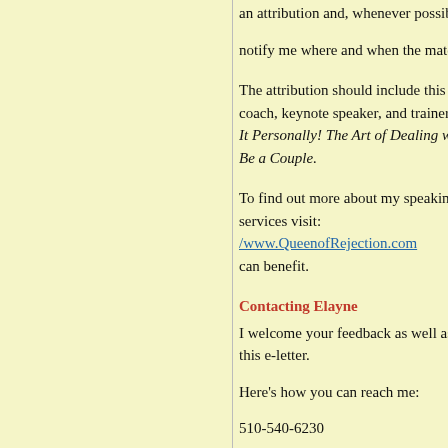an attribution and, whenever possible, a live link. Please notify me where and when the material will a…
The attribution should include this information: coach, keynote speaker, and trainer, practi… It Personally! The Art of Dealing with Reject… Be a Couple.
To find out more about my speaking program… services visit: /www.QueenofRejection.com can benefit.
Contacting Elayne
I welcome your feedback as well as suggest… this e-letter.
Here's how you can reach me:
510-540-6230
www.QueenofRejection.com